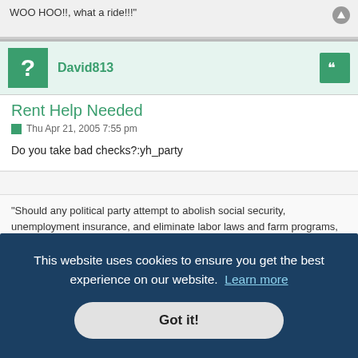WOO HOO!!, what a ride!!!"
David813
Rent Help Needed
Thu Apr 21, 2005 7:55 pm
Do you take bad checks?:yh_party
"Should any political party attempt to abolish social security, unemployment insurance, and eliminate labor laws and farm programs, you would not hear of that party again in our political history. There is a tiny splinter group that believes you can do these things. Among them are a few Texas millionaires, or ... e stupid."
This website uses cookies to ensure you get the best experience on our website.  Learn more
Got it!
Rent Help Needed